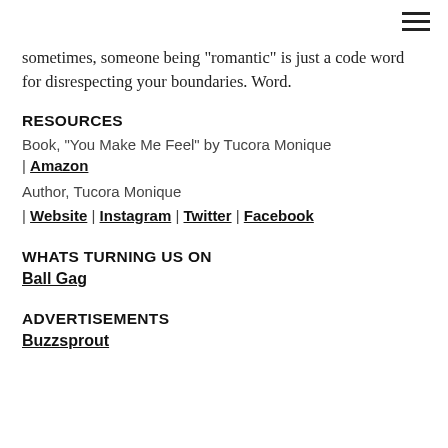≡ (menu icon)
sometimes, someone being "romantic" is just a code word for disrespecting your boundaries. Word.
RESOURCES
Book, "You Make Me Feel" by Tucora Monique
| Amazon
Author, Tucora Monique
| Website | Instagram | Twitter | Facebook
WHATS TURNING US ON
Ball Gag
ADVERTISEMENTS
Buzzsprout